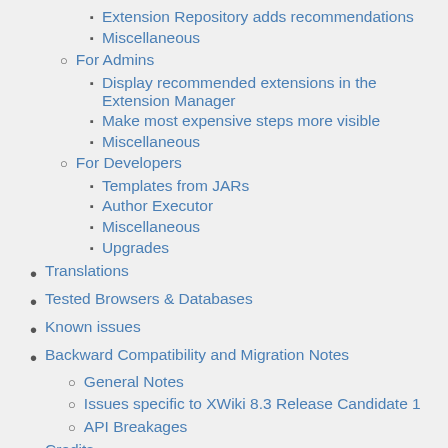Extension Repository adds recommendations
Miscellaneous
For Admins
Display recommended extensions in the Extension Manager
Make most expensive steps more visible
Miscellaneous
For Developers
Templates from JARs
Author Executor
Miscellaneous
Upgrades
Translations
Tested Browsers & Databases
Known issues
Backward Compatibility and Migration Notes
General Notes
Issues specific to XWiki 8.3 Release Candidate 1
API Breakages
Credits